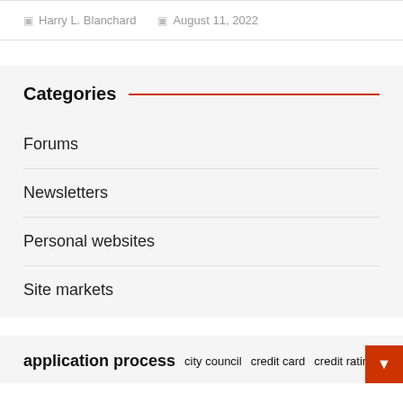Harry L. Blanchard   August 11, 2022
Categories
Forums
Newsletters
Personal websites
Site markets
application process   city council   credit card   credit rating